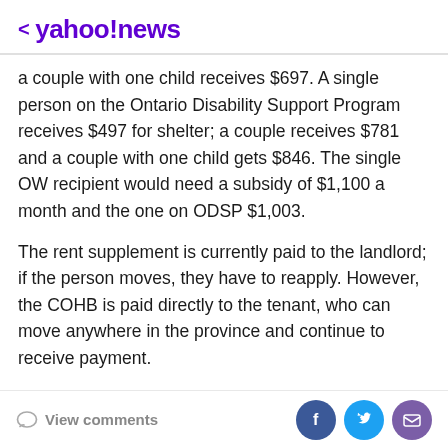< yahoo!news
a couple with one child receives $697. A single person on the Ontario Disability Support Program receives $497 for shelter; a couple receives $781 and a couple with one child gets $846. The single OW recipient would need a subsidy of $1,100 a month and the one on ODSP $1,003.
The rent supplement is currently paid to the landlord; if the person moves, they have to reapply. However, the COHB is paid directly to the tenant, who can move anywhere in the province and continue to receive payment.
The county has $98,394 in new funding, to be used as a housing allowance for eligible renter households. The
View comments